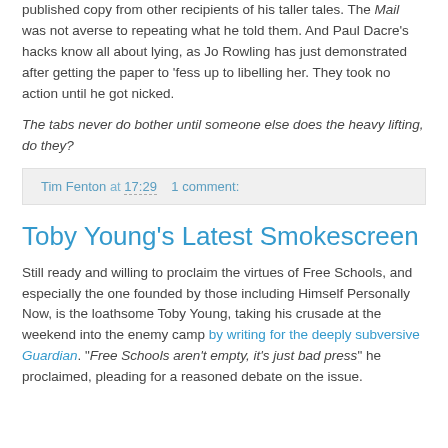published copy from other recipients of his taller tales. The Mail was not averse to repeating what he told them. And Paul Dacre’s hacks know all about lying, as Jo Rowling has just demonstrated after getting the paper to ‘fess up to libelling her. They took no action until he got nicked.
The tabs never do bother until someone else does the heavy lifting, do they?
Tim Fenton at 17:29   1 comment:
Toby Young’s Latest Smokescreen
Still ready and willing to proclaim the virtues of Free Schools, and especially the one founded by those including Himself Personally Now, is the loathsome Toby Young, taking his crusade at the weekend into the enemy camp by writing for the deeply subversive Guardian. “Free Schools aren’t empty, it’s just bad press” he proclaimed, pleading for a reasoned debate on the issue.